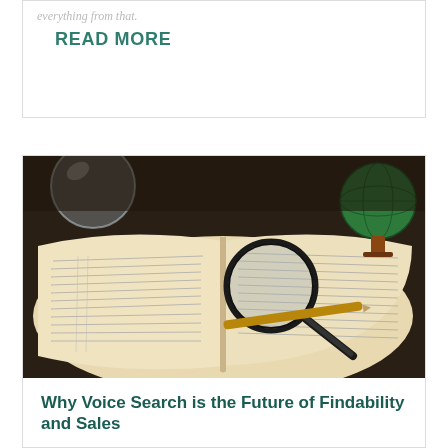READ MORE
[Figure (photo): Open book with a magnifying glass and pen resting on it, with a small globe in the background on a dark wooden surface]
Why Voice Search is the Future of Findability and Sales
Voice search is growing and forecasting the move away from keywords to